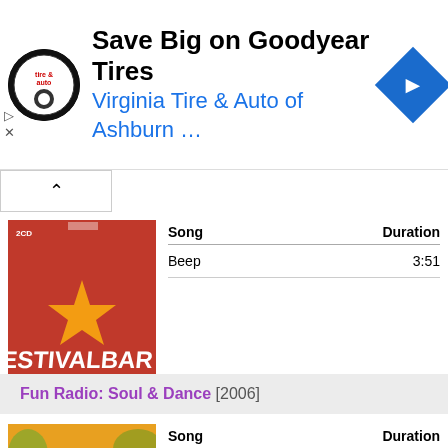[Figure (screenshot): Ad banner: Virginia Tire & Auto of Ashburn circular logo, text 'Save Big on Goodyear Tires', 'Virginia Tire & Auto of Ashburn ...', blue navigation diamond icon]
[Figure (photo): Festivalbar 2006 album art - red background with star logo, '2006', '36 la tua estate in musica GRANDI SUCCESSI']
| Song | Duration |
| --- | --- |
| Beep | 3:51 |
Fun Radio: Soul & Dance [2006]
[Figure (photo): Album art showing two people - a man in brown leather jacket and another in blue jacket, orange/yellow background]
| Song | Duration |
| --- | --- |
| Beep | 3:47 |